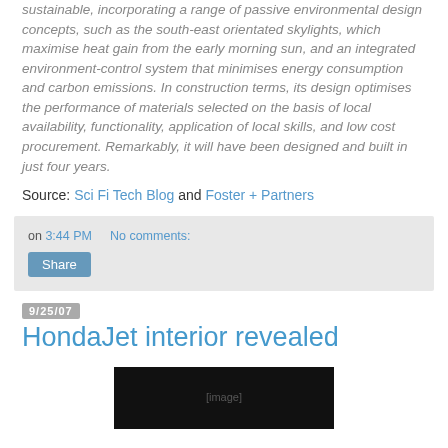sustainable, incorporating a range of passive environmental design concepts, such as the south-east orientated skylights, which maximise heat gain from the early morning sun, and an integrated environment-control system that minimises energy consumption and carbon emissions. In construction terms, its design optimises the performance of materials selected on the basis of local availability, functionality, application of local skills, and low cost procurement. Remarkably, it will have been designed and built in just four years.
Source: Sci Fi Tech Blog and Foster + Partners
on 3:44 PM   No comments:
Share
9/25/07
HondaJet interior revealed
[Figure (photo): Dark thumbnail image of HondaJet interior, partially visible at bottom of page]